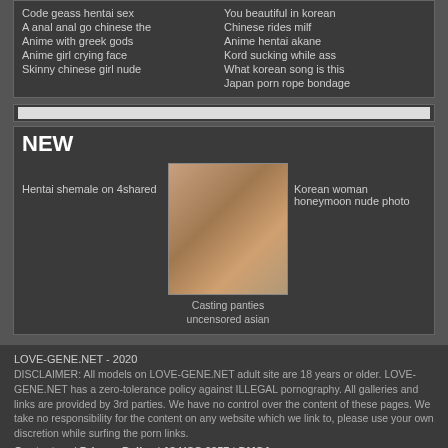Code geass hentai sex
A anal anal go chinese the
Anime with greek gods
Anime girl crying face
Skinny chinese girl nude
You beautiful in korean
Chinese rides milf
Anime hentai akane
Kord sucking while ass
What korean song is this
Japan porn rope bondage
NEW
Hentai shemale on 4shared
[Figure (photo): Adult content image]
Casting panties uncensored asian
Korean woman honeymoon nude photo
LOVE-GENE.NET - 2020
DISCLAIMER: All models on LOVE-GENE.NET adult site are 18 years or older. LOVE-GENE.NET has a zero-tolerance policy against ILLEGAL pornography. All galleries and links are provided by 3rd parties. We have no control over the content of these pages. We take no responsibility for the content on any website which we link to, please use your own discretion while surfing the porn links.
Contact us | Privacy Policy | 18 USC 2257 | DMCA